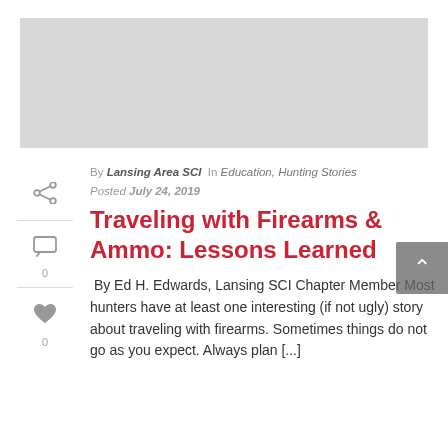[Figure (photo): Gray placeholder banner image at top of page]
By Lansing Area SCI In Education, Hunting Stories
Posted July 24, 2019
Traveling with Firearms & Ammo: Lessons Learned
By Ed H. Edwards, Lansing SCI Chapter Member Most hunters have at least one interesting (if not ugly) story about traveling with firearms. Sometimes things do not go as you expect. Always plan [...]